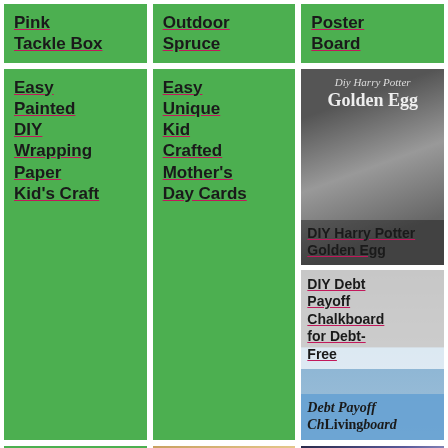Pink Tackle Box
Outdoor Spruce
Poster Board
Easy Painted DIY Wrapping Paper Kid's Craft
Easy Unique Kid Crafted Mother's Day Cards
[Figure (photo): DIY Harry Potter Golden Egg photo with decorative golden egg]
DIY Harry Potter Golden Egg
[Figure (photo): DIY Debt Payoff Chalkboard for Debt-Free Living]
DIY Debt Payoff Chalkboard for Debt-Free Living
DIY Seven
[Figure (photo): Diy Monogram Stenciled Sharpie Mug]
[Figure (photo): Glow in the Dark Ghost Handprint Shirt]
Glow in the Dark